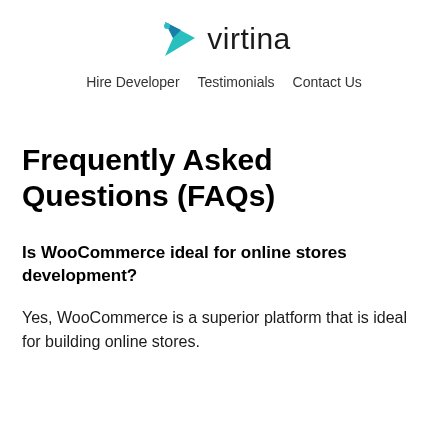[Figure (logo): Virtina logo with teal arrow/chevron icon and the wordmark 'virtina' in dark text]
Hire Developer   Testimonials   Contact Us
Frequently Asked Questions (FAQs)
Is WooCommerce ideal for online stores development?
Yes, WooCommerce is a superior platform that is ideal for building online stores.